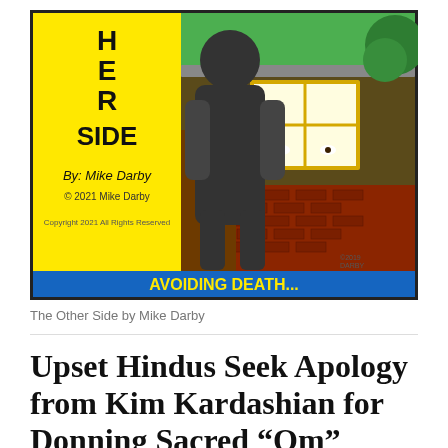[Figure (illustration): Comic strip cover 'The Other Side' by Mike Darby. Yellow panel on left with text 'H E R SIDE', 'By: Mike Darby', '© 2021 Mike Darby', 'Copyright 2021 All Rights Reserved'. Right panel shows cartoon of dark figure at a door with brick wall house, window with eyes peering out, green trees. Blue banner at bottom reads 'AVOIDING DEATH...' in yellow text.]
The Other Side by Mike Darby
Upset Hindus Seek Apology from Kim Kardashian for Donning Sacred “Om” Earrings in Photo-Shoot